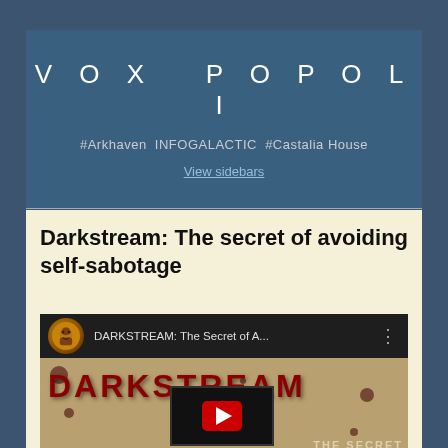VOX POPOLI
#Arkhaven INFOGALACTIC #Castalia House
View sidebars
Darkstream: The secret of avoiding self-sabotage
[Figure (screenshot): YouTube video thumbnail showing DARKSTREAM: The Secret of A... with a dark/horror styled 'DARKSTREAM' text in dripping red letters on a tan background, with a YouTube play button overlay and a man in the lower portion. Top bar shows a circular avatar with a face, video title, and options dots.]